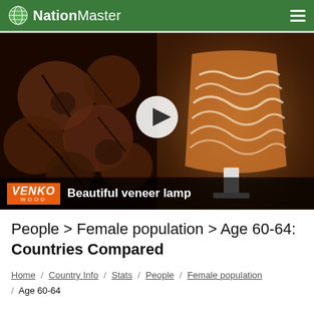NationMaster
[Figure (photo): Video thumbnail showing wood piece art on left and a glowing veneer lamp on the right, with a play button overlay. Bottom bar shows VENKO WOOD logo and text 'Beautiful veneer lamp']
People > Female population > Age 60-64: Countries Compared
Home / Country Info / Stats / People / Female population / Age 60-64